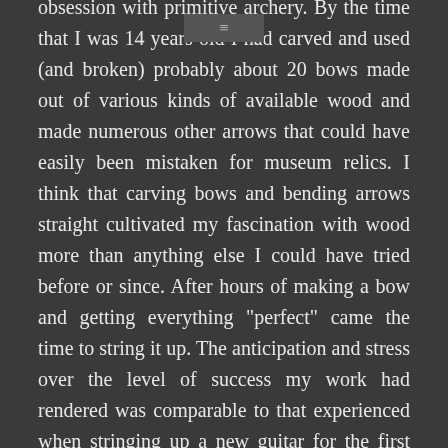obsession with primitive archery. By the time that I was 14 years old I had carved and used (and broken) probably about 20 bows made out of various kinds of available wood and made numerous other arrows that could have easily been mistaken for museum relics. I think that carving bows and bending arrows straight cultivated my fascination with wood more than anything else I could have tried before or since. After hours of making a bow and getting everything "perfect" came the time to string it up. The anticipation and stress over the level of success my work had rendered was comparable to that experienced when stringing up a new guitar for the first time. Like guitars, making bows well requires an intimate knowledge and intuition about the physical properties of different woods.
Music had always been a part of my family and my Julliard trained grandmother imparted her talents to my older sister who played the piano in my living room, my